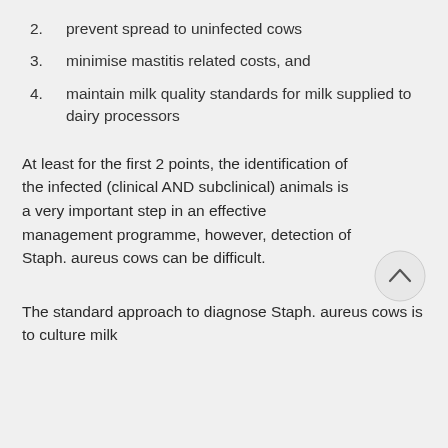2. prevent spread to uninfected cows
3. minimise mastitis related costs, and
4. maintain milk quality standards for milk supplied to dairy processors
At least for the first 2 points, the identification of the infected (clinical AND subclinical) animals is a very important step in an effective management programme, however, detection of Staph. aureus cows can be difficult.
The standard approach to diagnose Staph. aureus cows is to culture milk